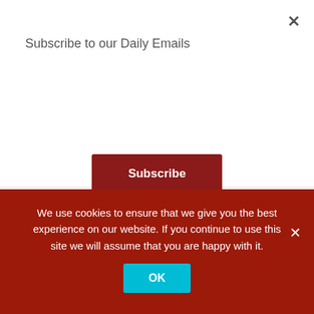Subscribe to our Daily Emails
Subscribe
FILED UNDER: NEWSLINE, SATELLITE, TV
TAGGED WITH: BEIN SPORT, DU, DUBAI, UAE, WORLD CUP 2018
EDITED: 4 JUNE 2018 09:33
We use cookies to ensure that we give you the best experience on our website. If you continue to use this site we will assume that you are happy with it.
OK